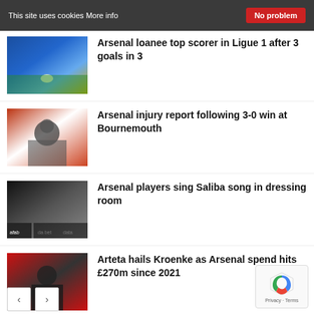This site uses cookies More info | No problem
[Figure (photo): Football players on pitch during Ligue 1 match]
Arsenal loanee top scorer in Ligue 1 after 3 goals in 3
[Figure (photo): Arsenal manager with players after Bournemouth match]
Arsenal injury report following 3-0 win at Bournemouth
[Figure (photo): Arsenal players celebrating in dressing room]
Arsenal players sing Saliba song in dressing room
[Figure (photo): Arteta at press conference with Arsenal branding]
Arteta hails Kroenke as Arsenal spend hits £270m since 2021